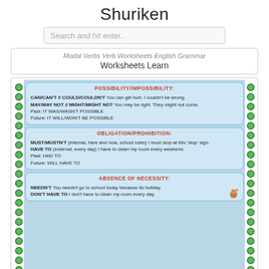Shuriken
Search and hit enter..
Modal Verbs Verb Worksheets English Grammar Worksheets Learn
[Figure (screenshot): Educational worksheet on Modal Verbs showing three sections: Possibility/Impossibility (CAN/CAN'T, MAY/MAY NOT, MIGHT/MIGHT NOT with examples), Obligation/Prohibition (MUST/MUSTN'T, HAVE TO with examples), and Absence of Necessity (NEEDN'T, DON'T HAVE TO with examples). Decorated with green dotted borders on left and right sides.]
Modal Verbs Educacion Ingles Ciencia